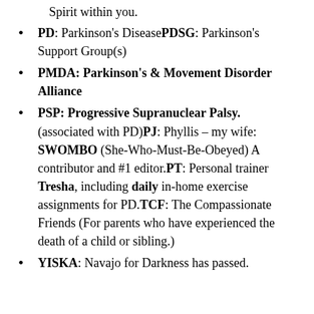Spirit within you.
PD: Parkinson's DiseasePDSG: Parkinson's Support Group(s)
PMDA: Parkinson's & Movement Disorder Alliance
PSP: Progressive Supranuclear Palsy. (associated with PD)PJ: Phyllis – my wife: SWOMBO (She-Who-Must-Be-Obeyed) A contributor and #1 editor.PT: Personal trainer Tresha, including daily in-home exercise assignments for PD.TCF: The Compassionate Friends (For parents who have experienced the death of a child or sibling.)
YISKA: Navajo for Darkness has passed.